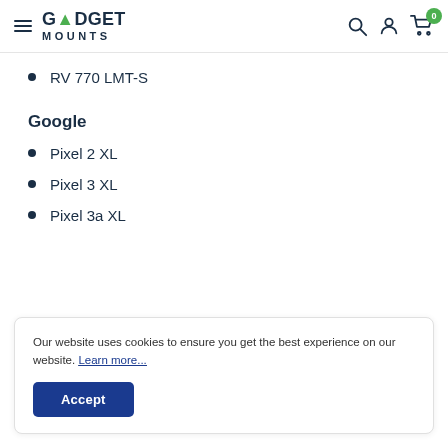Gadget Mounts — navigation header with logo, search, account, and cart icons
RV 770 LMT-S
Google
Pixel 2 XL
Pixel 3 XL
Pixel 3a XL
Our website uses cookies to ensure you get the best experience on our website. Learn more...
Accept